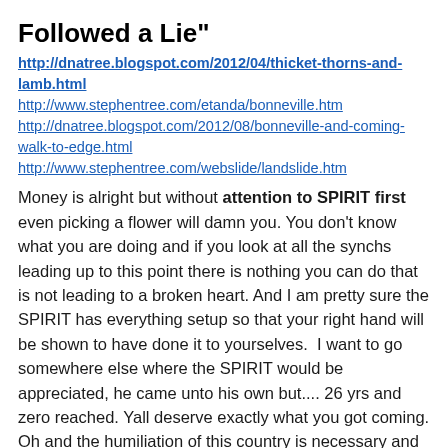Followed a Lie"
http://dnatree.blogspot.com/2012/04/thicket-thorns-and-lamb.html
http://www.stephentree.com/etanda/bonneville.htm
http://dnatree.blogspot.com/2012/08/bonneville-and-coming-walk-to-edge.html
http://www.stephentree.com/webslide/landslide.htm
Money is alright but without attention to SPIRIT first even picking a flower will damn you. You don’t know what you are doing and if you look at all the synchs leading up to this point there is nothing you can do that is not leading to a broken heart. And I am pretty sure the SPIRIT has everything setup so that your right hand will be shown to have done it to yourselves.  I want to go somewhere else where the SPIRIT would be appreciated, he came unto his own but.... 26 yrs and zero reached. Yall deserve exactly what you got coming. Oh and the humiliation of this country is necessary and it will be the whole world blaming you, of course the synchs have said that all along.
Warning to USA